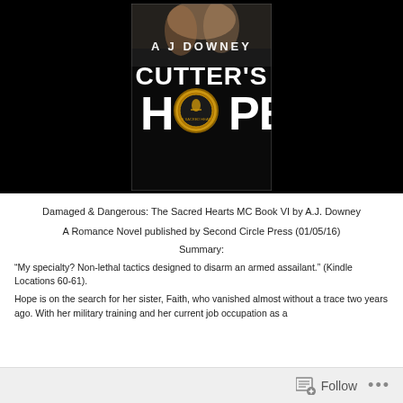[Figure (illustration): Book cover for 'Cutter's Hope' by A J Downey. Dark background with large white distressed text reading 'CUTTER'S HOPE' and author name 'A J DOWNEY' at top. A circular emblem/medallion is centered in the 'O' of HOPE.]
Damaged & Dangerous: The Sacred Hearts MC Book VI by A.J. Downey
A Romance Novel published by Second Circle Press (01/05/16)
Summary:
“My specialty? Non-lethal tactics designed to disarm an armed assailant.” (Kindle Locations 60-61).
Hope is on the search for her sister, Faith, who vanished almost without a trace two years ago. With her military training and her current job occupation as a